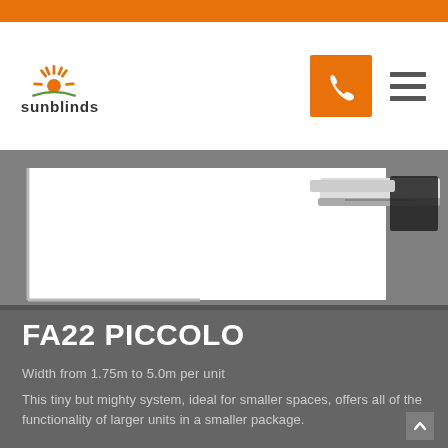[Figure (logo): Sunblinds company logo with orange sun rays icon above the word sunblinds in dark text]
[Figure (photo): Product photo showing FA22 Piccolo awning hardware/bracket in white and black against a light background, with a grey card overlay with L-shaped border]
FA22 PICCOLO
Width from 1.75m to 5.0m per unit
This tiny but mighty system, ideal for smaller spaces, offers all of the functionality of larger units in a smaller package.